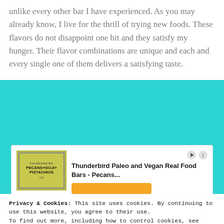unlike every other bar I have experienced. As you may already know, I live for the thrill of trying new foods. These flavors do not disappoint one bit and they satisfy my hunger. Their flavor combinations are unique and each and every single one of them delivers a satisfying taste.
[Figure (other): Advertisement for Thunderbird Paleo and Vegan Real Food Bars - Pecans... with product image showing Pecans+Goji+Pistachios bar packaging and an orange button]
Privacy & Cookies: This site uses cookies. By continuing to use this website, you agree to their use.
To find out more, including how to control cookies, see here: Cookie Policy
Close and accept